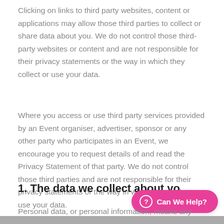Clicking on links to third party websites, content or applications may allow those third parties to collect or share data about you. We do not control those third-party websites or content and are not responsible for their privacy statements or the way in which they collect or use your data.
Where you access or use third party services provided by an Event organiser, advertiser, sponsor or any other party who participates in an Event, we encourage you to request details of and read the Privacy Statement of that party. We do not control those third parties and are not responsible for their privacy statements or the way in which they collect or use your data.
1. The data we collect about yo...
Personal data, or personal information, means any information about a person from which that person...